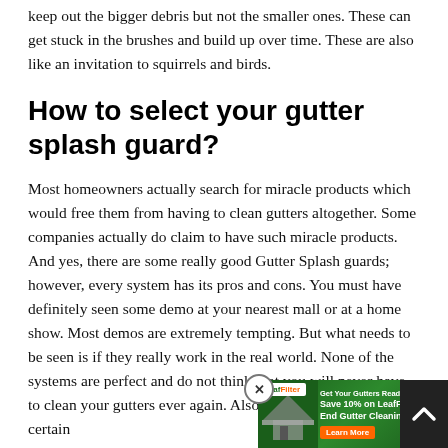keep out the bigger debris but not the smaller ones. These can get stuck in the brushes and build up over time. These are also like an invitation to squirrels and birds.
How to select your gutter splash guard?
Most homeowners actually search for miracle products which would free them from having to clean gutters altogether. Some companies actually do claim to have such miracle products. And yes, there are some really good Gutter Splash guards; however, every system has its pros and cons. You must have definitely seen some demo at your nearest mall or at a home show. Most demos are extremely tempting. But what needs to be seen is if they really work in the real world. None of the systems are perfect and do not think that you will never have to clean your gutters ever again. Also Gutter splash guards are certain for but